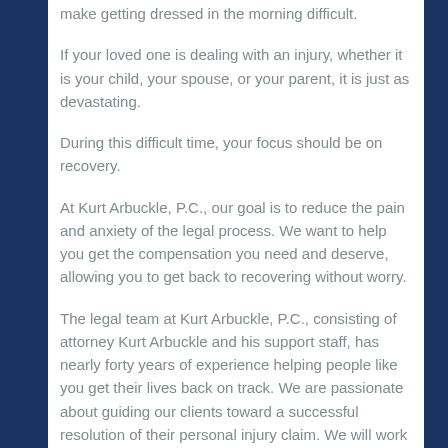make getting dressed in the morning difficult.
If your loved one is dealing with an injury, whether it is your child, your spouse, or your parent, it is just as devastating.
During this difficult time, your focus should be on recovery.
At Kurt Arbuckle, P.C., our goal is to reduce the pain and anxiety of the legal process. We want to help you get the compensation you need and deserve, allowing you to get back to recovering without worry.
The legal team at Kurt Arbuckle, P.C., consisting of attorney Kurt Arbuckle and his support staff, has nearly forty years of experience helping people like you get their lives back on track. We are passionate about guiding our clients toward a successful resolution of their personal injury claim. We will work with you throughout the process, answering your questions and listening to your needs. We